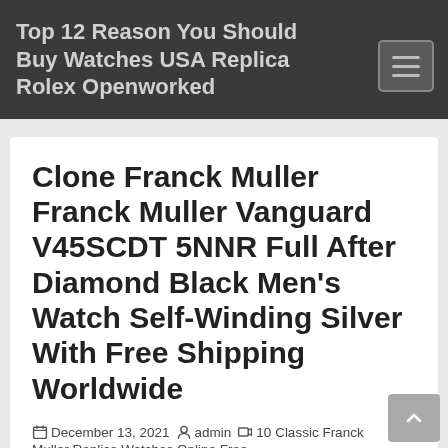Top 12 Reason You Should Buy Watches USA Replica Rolex Openworked
Clone Franck Muller Franck Muller Vanguard V45SCDT 5NNR Full After Diamond Black Men's Watch Self-Winding Silver With Free Shipping Worldwide
December 13, 2021   admin   10 Classic Franck Muller Replica Watches Online Free